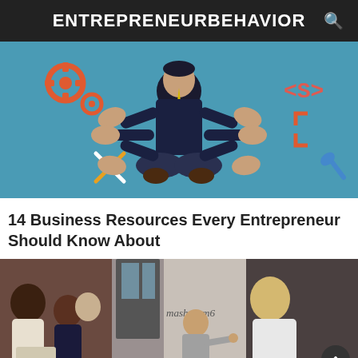ENTREPRENEURBEHAVIOR
[Figure (illustration): Illustrated graphic of a multi-armed businessman in a suit sitting cross-legged, surrounded by icons for tools, gears, code brackets, and a wrench on a teal/blue background.]
14 Business Resources Every Entrepreneur Should Know About
[Figure (photo): Photo of a group meeting/workshop scene: on the left, diverse people gathered in discussion; in the center, a man in a grey blazer presenting at a wall with 'mashroom6' sign; on the right, partially visible person with blonde hair.]